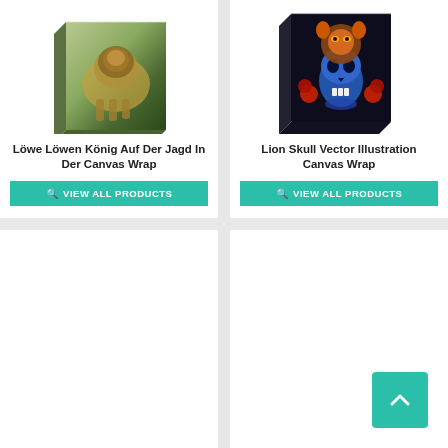[Figure (illustration): Canvas wrap product showing a lion walking through grass, 3D canvas presentation]
Löwe Löwen König Auf Der Jagd In Der Canvas Wrap
VIEW ALL PRODUCTS
[Figure (illustration): Canvas wrap product showing a lion skull vector illustration on dark background]
Lion Skull Vector Illustration Canvas Wrap
VIEW ALL PRODUCTS
[Figure (other): Empty white product card (bottom left)]
[Figure (other): Empty white product card (bottom right) with teal scroll-to-top button]